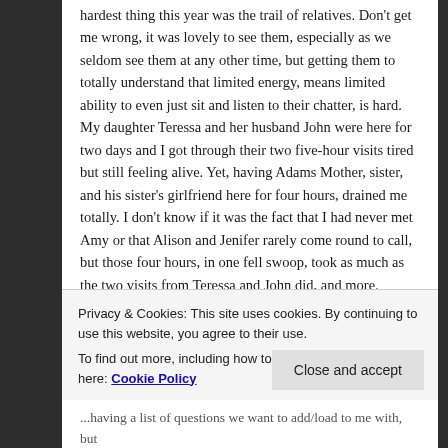hardest thing this year was the trail of relatives. Don't get me wrong, it was lovely to see them, especially as we seldom see them at any other time, but getting them to totally understand that limited energy, means limited ability to even just sit and listen to their chatter, is hard. My daughter Teressa and her husband John were here for two days and I got through their two five-hour visits tired but still feeling alive. Yet, having Adams Mother, sister, and his sister's girlfriend here for four hours, drained me totally. I don't know if it was the fact that I had never met Amy or that Alison and Jenifer rarely come round to call, but those four hours, in one fell swoop, took as much as the two visits from Teressa and John did, and more.
But this visit had too me convinced him how much to sit...
Privacy & Cookies: This site uses cookies. By continuing to use this website, you agree to their use.
To find out more, including how to control cookies, see here: Cookie Policy
Close and accept
...having a list of questions we want to add/load to me with, but...